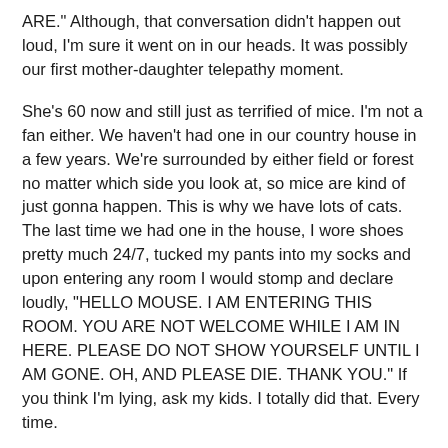ARE." Although, that conversation didn't happen out loud, I'm sure it went on in our heads. It was possibly our first mother-daughter telepathy moment.
She's 60 now and still just as terrified of mice. I'm not a fan either. We haven't had one in our country house in a few years. We're surrounded by either field or forest no matter which side you look at, so mice are kind of just gonna happen. This is why we have lots of cats. The last time we had one in the house, I wore shoes pretty much 24/7, tucked my pants into my socks and upon entering any room I would stomp and declare loudly, "HELLO MOUSE. I AM ENTERING THIS ROOM. YOU ARE NOT WELCOME WHILE I AM IN HERE. PLEASE DO NOT SHOW YOURSELF UNTIL I AM GONE. OH, AND PLEASE DIE. THANK YOU." If you think I'm lying, ask my kids. I totally did that. Every time.
Over the years the kids have asked repeatedly for hamsters. And every time I say no. NO NO NO NO NONONONONONOOOOOOOO. But in August I was obviously ate up with the stupid with all the getting ready to